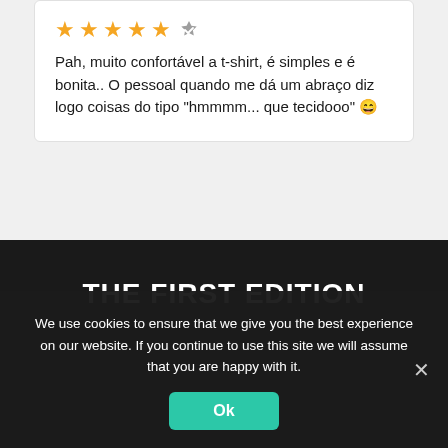★★★★★ (verified) Pah, muito confortável a t-shirt, é simples e é bonita.. O pessoal quando me dá um abraço diz logo coisas do tipo "hmmmm... que tecidooo" 😄
THE FIRST EDITION
We use cookies to ensure that we give you the best experience on our website. If you continue to use this site we will assume that you are happy with it.